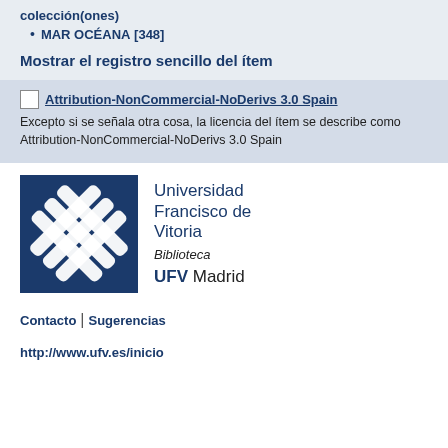colección(ones)
MAR OCÉANA [348]
Mostrar el registro sencillo del ítem
[Figure (logo): Attribution-NonCommercial-NoDerivs 3.0 Spain license logo placeholder image]
Excepto si se señala otra cosa, la licencia del ítem se describe como Attribution-NonCommercial-NoDerivs 3.0 Spain
[Figure (logo): Universidad Francisco de Vitoria - UFV Madrid library logo with diagonal striped emblem on dark blue background]
Universidad Francisco de Vitoria
Biblioteca
UFV Madrid
Contacto | Sugerencias
http://www.ufv.es/inicio